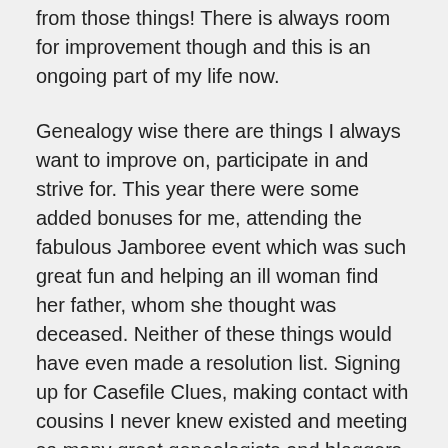from those things! There is always room for improvement though and this is an ongoing part of my life now.
Genealogy wise there are things I always want to improve on, participate in and strive for. This year there were some added bonuses for me, attending the fabulous Jamboree event which was such great fun and helping an ill woman find her father, whom she thought was deceased. Neither of these things would have even made a resolution list. Signing up for Casefile Clues, making contact with cousins I never knew existed and meeting so many great genealogists and bloggers would never have been on my resolution list either.
Items that may have been on my list, such as scanning all photographs, making sure everything I have is cited correctly, getting certain certificates or breaking down a brick wall are all things that are ongoing for me. They will never stop. There will always be new information to add to